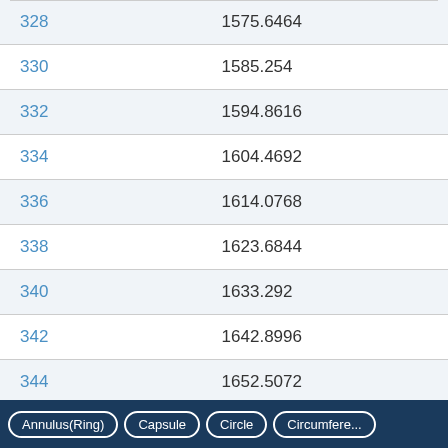|  |  |
| --- | --- |
| 328 | 1575.6464 |
| 330 | 1585.254 |
| 332 | 1594.8616 |
| 334 | 1604.4692 |
| 336 | 1614.0768 |
| 338 | 1623.6844 |
| 340 | 1633.292 |
| 342 | 1642.8996 |
| 344 | 1652.5072 |
Annulus(Ring)   Capsule   Circle   Circumference